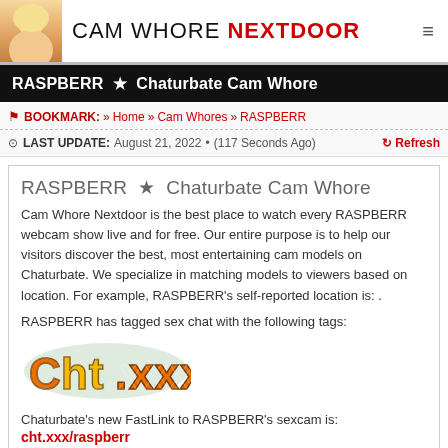CAM WHORE NEXTDOOR
RASPBERR ★ Chaturbate Cam Whore
🔖 BOOKMARK: » Home » Cam Whores » RASPBERR
⏱ LAST UPDATE: August 21, 2022 • (117 Seconds Ago)  🔄 Refresh
RASPBERR ★ Chaturbate Cam Whore
Cam Whore Nextdoor is the best place to watch every RASPBERR webcam show live and for free. Our entire purpose is to help our visitors discover the best, most entertaining cam models on Chaturbate. We specialize in matching models to viewers based on location. For example, RASPBERR's self-reported location is: .
RASPBERR has tagged sex chat with the following tags:
[Figure (logo): Chaturbate Cht.xxx logo in orange/yellow graffiti style text]
Chaturbate's new FastLink to RASPBERR's sexcam is:
cht.xxx/raspberr